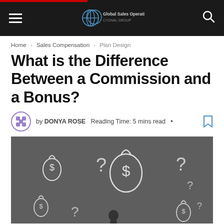Global Sales Operations — navigation bar
Home > Sales Compensation > Plan Design
What is the Difference Between a Commission and a Bonus?
by DONYA ROSE   Reading Time: 5 mins read  •
[Figure (photo): Chalkboard with chalk drawings of money bags with dollar signs and question marks, with a person standing in front of it.]